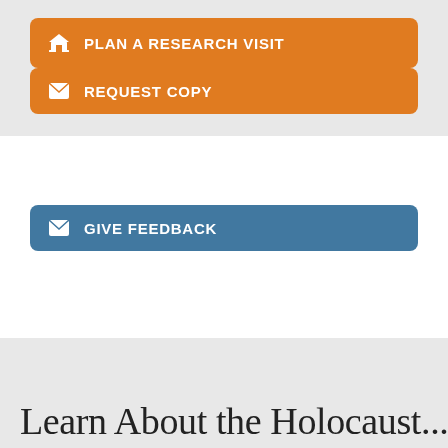PLAN A RESEARCH VISIT
REQUEST COPY
GIVE FEEDBACK
Learn About the Holocaust...